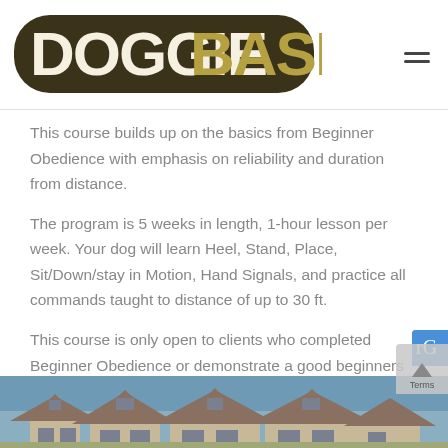DOGGIE BASICS
This course builds up on the basics from Beginner Obedience with emphasis on reliability and duration from distance.
The program is 5 weeks in length, 1-hour lesson per week. Your dog will learn Heel, Stand, Place, Sit/Down/stay in Motion, Hand Signals, and practice all commands taught to distance of up to 30 ft.
This course is only open to clients who completed Beginner Obedience or demonstrate a good beginners foundation.
[Figure (photo): Exterior photo of a residential building with garage doors and peaked roofline against a blue sky]